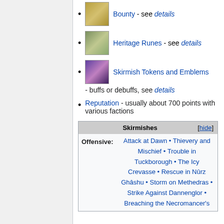Bounty - see details
Heritage Runes - see details
Skirmish Tokens and Emblems - buffs or debuffs, see details
Reputation - usually about 700 points with various factions
| Skirmishes | [hide] |
| --- | --- |
| Offensive: | Attack at Dawn • Thievery and Mischief • Trouble in Tuckborough • The Icy Crevasse • Rescue in Nûrz Ghâshu • Storm on Methedras • Strike Against Dannenglor • Breaching the Necromancer's |